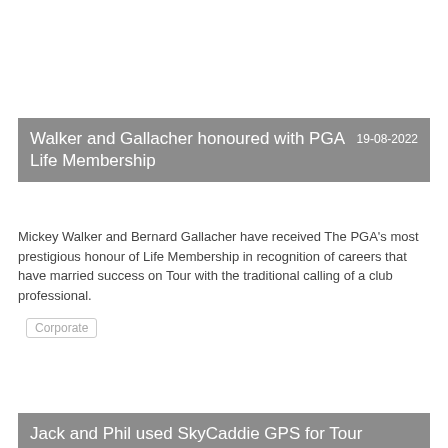Walker and Gallacher honoured with PGA Life Membership  19-08-2022
Mickey Walker and Bernard Gallacher have received The PGA's most prestigious honour of Life Membership in recognition of careers that have married success on Tour with the traditional calling of a club professional.
Corporate
Jack and Phil used SkyCaddie GPS for Tour